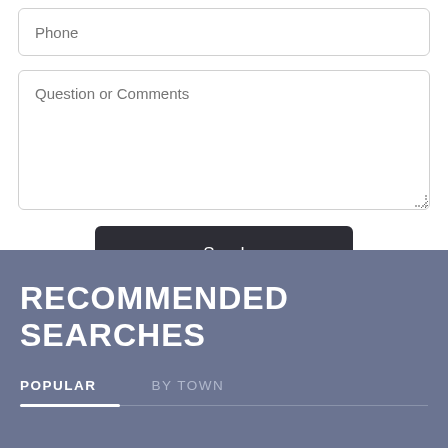Phone
Question or Comments
Send
RECOMMENDED SEARCHES
POPULAR
BY TOWN